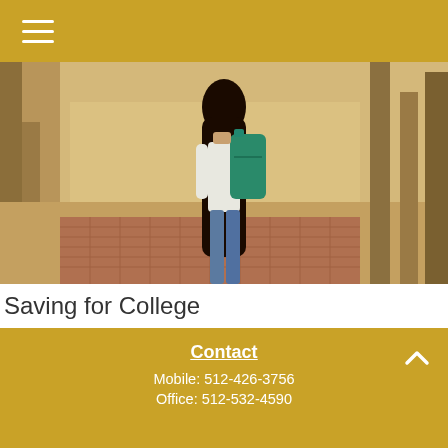[Figure (photo): A young woman with long dark hair wearing a white shirt and carrying a green backpack, walking along a brick-paved path through a park lined with trees]
Saving for College
This calculator can help you estimate how much you should be saving for college.
Contact
Mobile: 512-426-3756
Office: 512-532-4590